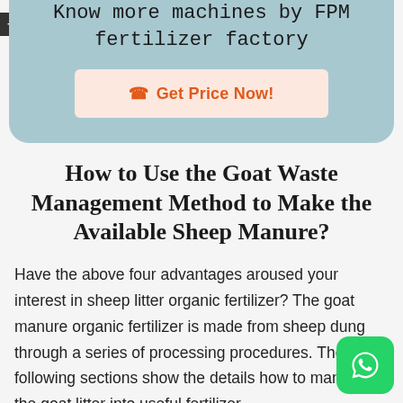Know more machines by FPM fertilizer factory
Get Price Now!
How to Use the Goat Waste Management Method to Make the Available Sheep Manure?
Have the above four advantages aroused your interest in sheep litter organic fertilizer? The goat manure organic fertilizer is made from sheep dung through a series of processing procedures. The following sections show the details how to manage the goat litter into useful fertilizer.